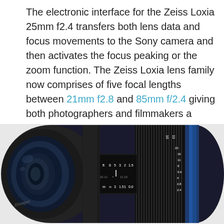The electronic interface for the Zeiss Loxia 25mm f2.4 transfers both lens data and focus movements to the Sony camera and then activates the focus peaking or the zoom function. The Zeiss Loxia lens family now comprises of five focal lengths between 21mm f2.8 and 85mm f/2.4 giving both photographers and filmmakers a large number of creative possibilities when taking photographs or filming because of its technical refinement, linking traditional photography with modern technology.
[Figure (photo): Close-up photograph of a Zeiss Loxia camera lens (Distagon) in black with a blue accent ring, showing the focus distance scale with markings in feet and meters. The lens is photographed at an angle from the front-left, revealing the front element and the engraved distance markings on the barrel.]